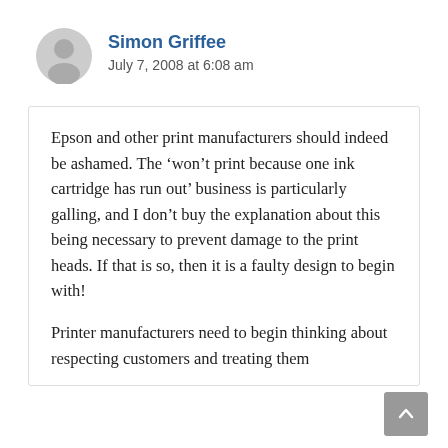Simon Griffee
July 7, 2008 at 6:08 am
Epson and other print manufacturers should indeed be ashamed. The ‘won’t print because one ink cartridge has run out’ business is particularly galling, and I don’t buy the explanation about this being necessary to prevent damage to the print heads. If that is so, then it is a faulty design to begin with!
Printer manufacturers need to begin thinking about respecting customers and treating them